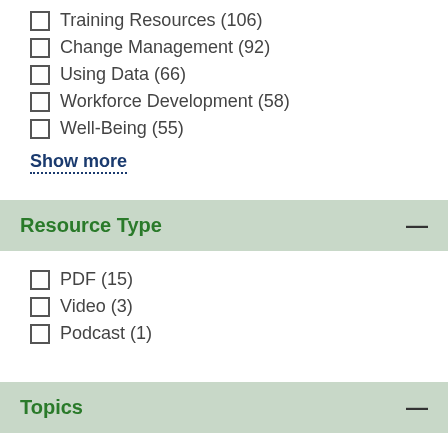Training Resources (106)
Change Management (92)
Using Data (66)
Workforce Development (58)
Well-Being (55)
Show more
Resource Type
PDF (15)
Video (3)
Podcast (1)
Topics